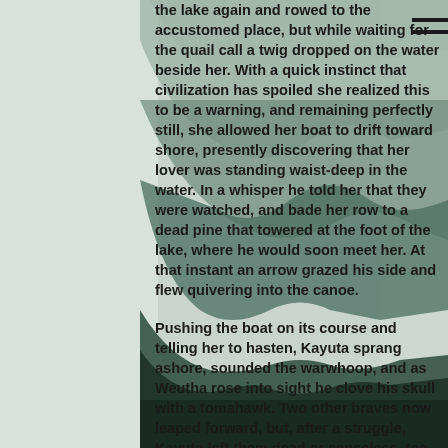[Figure (photo): Background photo of misty mountain range with forested slopes, teal/grey-green color tone, mountains layered in the background with dense forest in the foreground.]
the lake again and rowed to the accustomed place, but while waiting for the quail call a twig dropped on the water beside her. With a quick instinct that civilization has spoiled she realized this to be a warning, and remaining perfectly still, she allowed her boat to drift toward shore, presently discovering that her lover was standing waist-deep in the water. In a whisper he told her that they were watched, and bade her row to a dead pine that towered at the foot of the lake, where he would soon meet her. At that instant an arrow grazed his side and flew quivering into the canoe.
Pushing the boat on its course and telling her to hasten, Kayuta sprang ashore, sounded the warwhoop, and as Weutha rose into sight he clove his skull with a tomahawk. Two other braves now leaped forward, but, after a struggle, Kayuta left them dead or senseless, too. He would have stayed to tear their scalps off had he not heard his name uttered in a shriek of agony from the end of the lake, and ti...